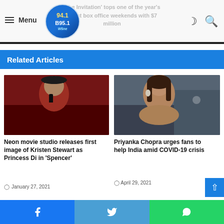'The Invitation' tops one of the year's worst box office weekends with $7 million
Related Articles
[Figure (photo): Kristen Stewart as Princess Diana in red coat and black hat]
Neon movie studio releases first image of Kristen Stewart as Princess Di in 'Spencer'
January 27, 2021
[Figure (photo): Priyanka Chopra at formal event, wearing earrings, crowd behind her]
Priyanka Chopra urges fans to help India amid COVID-19 crisis
April 29, 2021
Facebook  Twitter  WhatsApp share buttons